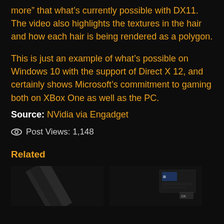more” that what’s currently possible with DX11. The video also highlights the textures in the hair and how each hair is being rendered as a polygon.
This is just an example of what’s possible on Windows 10 with the support of Direct X 12, and certainly shows Microsoft’s commitment to gaming both on XBox One as well as the PC.
Source: NVidia via Engadget
Post Views: 1,148
Related
[Figure (photo): Two thumbnail images for related articles: left shows a dark diagonal object, right shows a dark screenshot with Windows logo and text overlay]